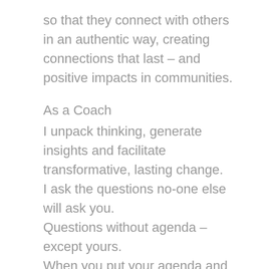so that they connect with others in an authentic way, creating connections that last – and positive impacts in communities.
As a Coach
I unpack thinking, generate insights and facilitate transformative, lasting change. I ask the questions no-one else will ask you. Questions without agenda – except yours. When you put your agenda and ideas on the table, I put mine aside to serve you to do your best thinking, to engage your creativity and problem-solving skills. I bring my ongoing learning from the field of social neuroscience and leadership coaching